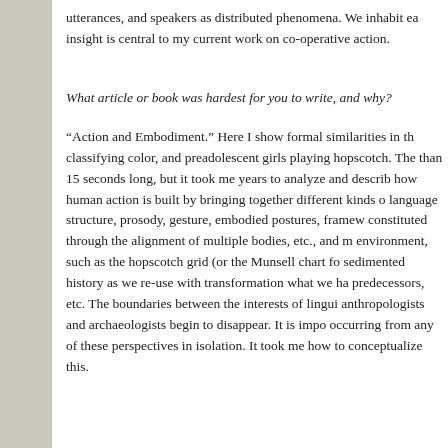utterances, and speakers as distributed phenomena. We inhabit ea insight is central to my current work on co-operative action.
What article or book was hardest for you to write, and why?
“Action and Embodiment.” Here I show formal similarities in th classifying color, and preadolescent girls playing hopscotch. The than 15 seconds long, but it took me years to analyze and describ how human action is built by bringing together different kinds o language structure, prosody, gesture, embodied postures, framew constituted through the alignment of multiple bodies, etc., and m environment, such as the hopscotch grid (or the Munsell chart fo sedimented history as we re-use with transformation what we ha predecessors, etc. The boundaries between the interests of lingui anthropologists and archaeologists begin to disappear. It is impo occurring from any of these perspectives in isolation. It took me how to conceptualize this.